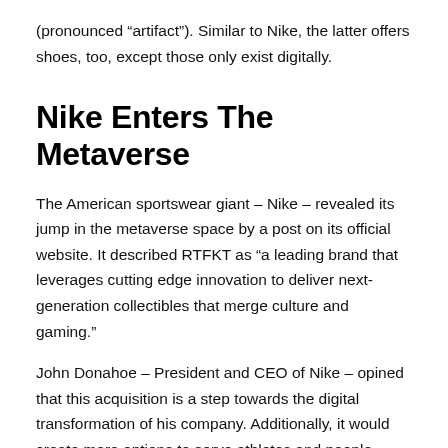(pronounced “artifact”). Similar to Nike, the latter offers shoes, too, except those only exist digitally.
Nike Enters The Metaverse
The American sportswear giant – Nike – revealed its jump in the metaverse space by a post on its official website. It described RTFKT as “a leading brand that leverages cutting edge innovation to deliver next-generation collectibles that merge culture and gaming.”
John Donahoe – President and CEO of Nike – opined that this acquisition is a step towards the digital transformation of his company. Additionally, it would create more options to serve athletes and people